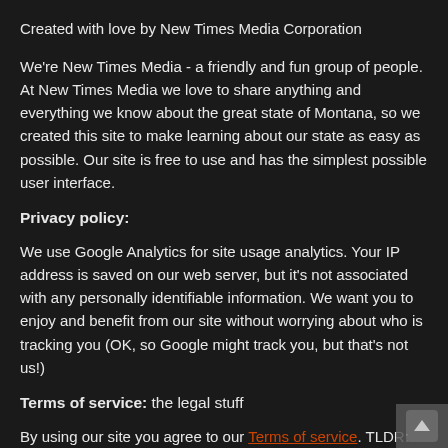Created with love by New Times Media Corporation
We're New Times Media - a friendly and fun group of people. At New Times Media we love to share anything and everything we know about the great state of Montana, so we created this site to make learning about our state as easy as possible. Our site is free to use and has the simplest possible user interface.
Privacy policy:
We use Google Analytics for site usage analytics. Your IP address is saved on our web server, but it's not associated with any personally identifiable information. We want you to enjoy and benefit from our site without worrying about who is tracking you (OK, so Google might track you, but that's not us!)
Terms of service: the legal stuff
By using our site you agree to our Terms of service. TLDR: You don't need an account to use our site. Our site is free of charge and you can use it as much as you want. You need an account if